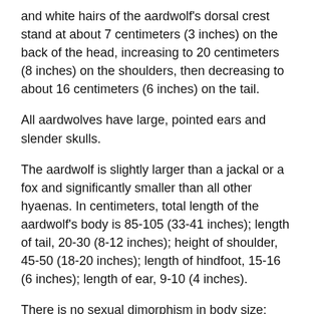and white hairs of the aardwolf's dorsal crest stand at about 7 centimeters (3 inches) on the back of the head, increasing to 20 centimeters (8 inches) on the shoulders, then decreasing to about 16 centimeters (6 inches) on the tail.
All aardwolves have large, pointed ears and slender skulls.
The aardwolf is slightly larger than a jackal or a fox and significantly smaller than all other hyaenas. In centimeters, total length of the aardwolf's body is 85-105 (33-41 inches); length of tail, 20-30 (8-12 inches); height of shoulder, 45-50 (18-20 inches); length of hindfoot, 15-16 (6 inches); length of ear, 9-10 (4 inches).
There is no sexual dimorphism in body size; both male and females are roughly the same size with no